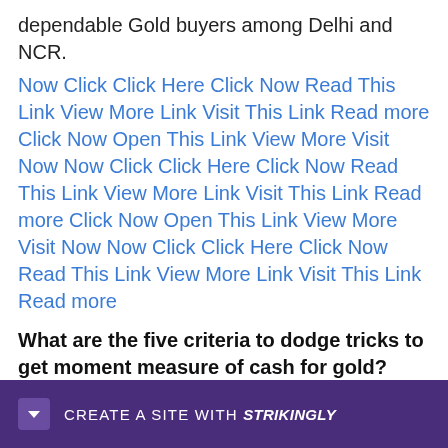dependable Gold buyers among Delhi and NCR.
Now Click Click Here Click Now Read This Link View More Link Visit This Link Read more Click Now Open This Link View More Visit Now Now Click Click Here Click Now Read This Link View More Link Visit This Link Read more Click Now Open This Link View More Visit Now Now Click Click Here Click Now Read This Link View More Link Visit This Link Read more
What are the five criteria to dodge tricks to get moment measure of cash for gold?
"Kno... for cash...
[Figure (other): Strikingly website builder promotional banner with purple background, dropdown arrow icon, and text 'CREATE A SITE WITH strikingly']